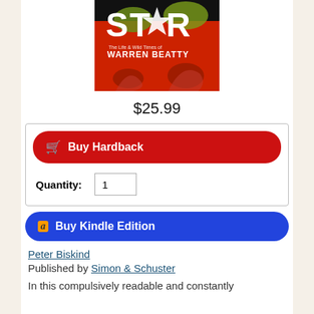[Figure (photo): Book cover for 'Star: The Life & Wild Times of Warren Beatty' by Peter Biskind. Bold 'STAR' text in white/green on red background with figure silhouettes.]
$25.99
Buy Hardback
Quantity: 1
Buy Kindle Edition
Peter Biskind
Published by Simon & Schuster
In this compulsively readable and constantly